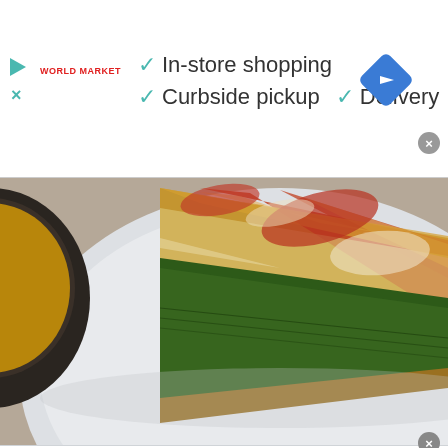[Figure (screenshot): Top ad banner for World Market showing: play button icon, World Market logo in red, green checkmarks with 'In-store shopping', 'Curbside pickup', 'Delivery' text, blue diamond navigation button, and close X button]
[Figure (photo): Food photograph showing a slice of quiche or savory tart with spinach filling on a white plate, with the rest of the tart in a dark pan visible at the left edge]
[Figure (screenshot): Bottom ad banner for World Market (repeat of top banner) showing: play button icon, World Market logo in red, green checkmarks with 'In-store shopping', 'Curbside pickup', 'Delivery' text, blue diamond navigation button, and gray close X button]